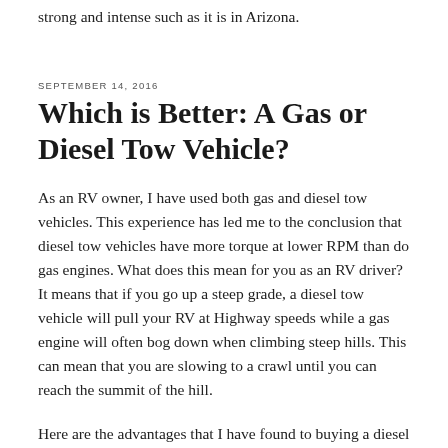strong and intense such as it is in Arizona.
SEPTEMBER 14, 2016
Which is Better: A Gas or Diesel Tow Vehicle?
As an RV owner, I have used both gas and diesel tow vehicles. This experience has led me to the conclusion that diesel tow vehicles have more torque at lower RPM than do gas engines. What does this mean for you as an RV driver? It means that if you go up a steep grade, a diesel tow vehicle will pull your RV at Highway speeds while a gas engine will often bog down when climbing steep hills. This can mean that you are slowing to a crawl until you can reach the summit of the hill.
Here are the advantages that I have found to buying a diesel tow vehicle: